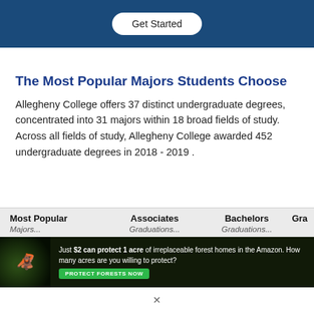[Figure (other): Dark blue banner with a white rounded 'Get Started' button]
The Most Popular Majors Students Choose
Allegheny College offers 37 distinct undergraduate degrees, concentrated into 31 majors within 18 broad fields of study. Across all fields of study, Allegheny College awarded 452 undergraduate degrees in 2018 - 2019 .
| Most Popular Majors | Associates Graduations | Bachelors Graduations | Gra... |
| --- | --- | --- | --- |
[Figure (other): Advertisement banner: dark forest background with text 'Just $2 can protect 1 acre of irreplaceable forest homes in the Amazon. How many acres are you willing to protect?' and a green 'PROTECT FORESTS NOW' button]